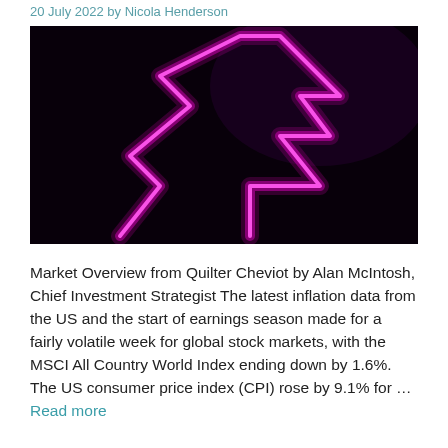20 July 2022 by Nicola Henderson
[Figure (photo): Dark background image with a glowing neon pink/magenta arrow shape pointing upward with a jagged zigzag path, suggesting stock market movement.]
Market Overview from Quilter Cheviot by Alan McIntosh, Chief Investment Strategist The latest inflation data from the US and the start of earnings season made for a fairly volatile week for global stock markets, with the MSCI All Country World Index ending down by 1.6%. The US consumer price index (CPI) rose by 9.1% for … Read more